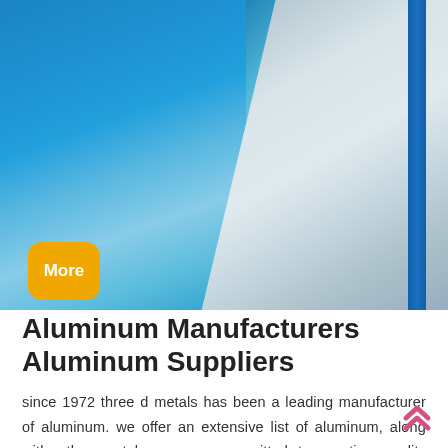[Figure (photo): Close-up photo of stacked aluminum sheets with blue protective coating/film on one side and silver metallic surface on the other, with a dark blue edge strip visible on the right side.]
Aluminum Manufacturers Aluminum Suppliers
since 1972 three d metals has been a leading manufacturer of aluminum. we offer an extensive list of aluminum, along with other metals. we are committed to creating quality metals and are iso 9001 certified. we take pride in our work and in our team. our products are top ...